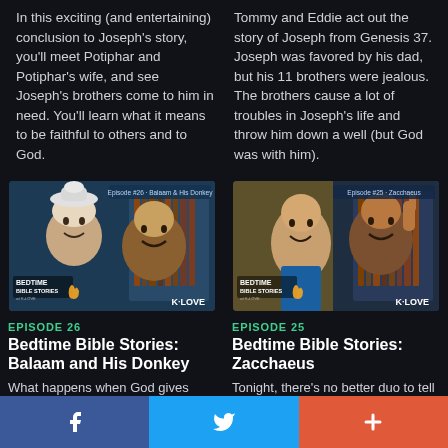In this exciting (and entertaining) conclusion to Joseph's story, you'll meet Potiphar and Potiphar's wife, and see Joseph's brothers come to him in need. You'll learn what it means to be faithful to others and to God.
Tommy and Eddie act out the story of Joseph from Genesis 37. Joseph was favored by his dad, but his 11 brothers were jealous. The brothers cause a lot of troubles in Joseph's life and throw him down a well (but God was with him).
[Figure (photo): Thumbnail for Episode 26: Bedtime Bible Stories - Balaam and His Donkey. Two men smiling, one wearing a funny hat. K-LOVE branding visible.]
[Figure (photo): Thumbnail for Episode 25: Bedtime Bible Stories - Zacchaeus. Two men smiling and gesturing. K-LOVE branding visible.]
EPISODE 26
Bedtime Bible Stories: Balaam and His Donkey
What happens when God gives
EPISODE 25
Bedtime Bible Stories: Zacchaeus
Tonight, there's no better duo to tell the story of Zacchaeus